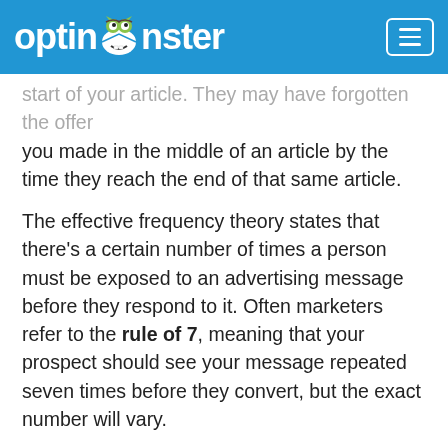optinmonster [logo with monster icon]
start of your article. They may have forgotten the offer you made in the middle of an article by the time they reach the end of that same article.
The effective frequency theory states that there's a certain number of times a person must be exposed to an advertising message before they respond to it. Often marketers refer to the rule of 7, meaning that your prospect should see your message repeated seven times before they convert, but the exact number will vary.
Lilach wanted to give her readers one more ever-present opportunity to join her list. To do that, she